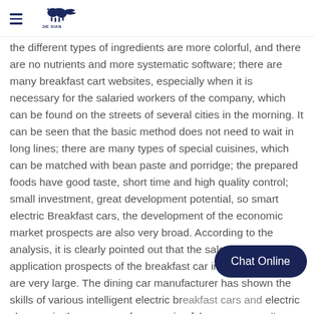JIEXIAN logo with menu icon
the different types of ingredients are more colorful, and there are no nutrients and more systematic software; there are many breakfast cart websites, especially when it is necessary for the salaried workers of the company, which can be found on the streets of several cities in the morning. It can be seen that the basic method does not need to wait in long lines; there are many types of special cuisines, which can be matched with bean paste and porridge; the prepared foods have good taste, short time and high quality control; small investment, great development potential, so smart electric Breakfast cars, the development of the economic market prospects are also very broad. According to the analysis, it is clearly pointed out that the sales market application prospects of the breakfast car in several aspects are very large. The dining car manufacturer has shown the skills of various intelligent electric br... electric skewers in the process of processing [skewers generally